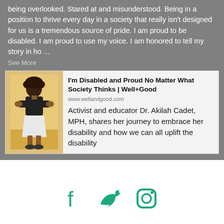being overlooked. Stared at and misunderstood. Being in a position to thrive every day in a society that really isn't designed for us is a tremendous source of pride. I am proud to be disabled. I am proud to use my voice. I am honored to tell my story in ho ...
See More
[Figure (screenshot): A link preview card with a photo of a person (Dr. Akilah Cadet) in a black shirt and white skirt, standing with arms crossed against a light background. The card title is "I'm Disabled and Proud No Matter What Society Thinks | Well+Good", URL www.wellandgood.com, and excerpt text about Dr. Akilah Cadet, MPH.]
[Figure (infographic): Social media icons: Facebook, Twitter, and Instagram logos in teal/green color at the bottom of the page.]